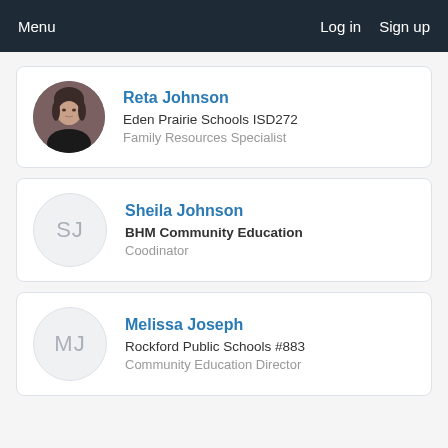Menu  Log in  Sign up
Reta Johnson
Eden Prairie Schools ISD272
Family Resources Specialist
Sheila Johnson
BHM Community Education
Coodinator
Melissa Joseph
Rockford Public Schools #883
Community Education Director